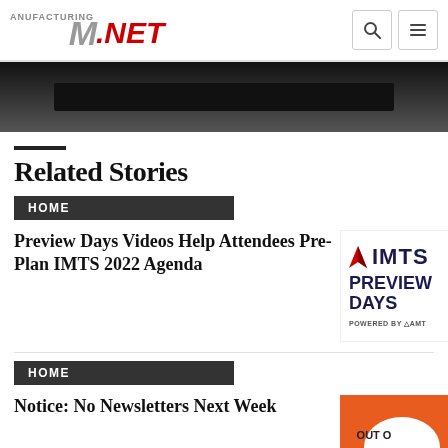Manufacturing.net
[Figure (photo): Dark hero image bar at top of page]
Related Stories
HOME
Preview Days Videos Help Attendees Pre-Plan IMTS 2022 Agenda
[Figure (photo): IMTS Preview Days promotional image with IMTS logo and 'PREVIEW DAYS' text, powered by AMT]
HOME
Notice: No Newsletters Next Week
[Figure (photo): Orange background with speech bubble saying OUT OF OFFICE and a megaphone]